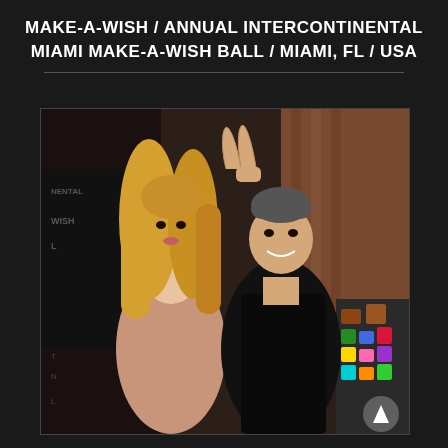MAKE-A-WISH / ANNUAL INTERCONTINENTAL MIAMI MAKE-A-WISH BALL / MIAMI, FL / USA
[Figure (photo): Two people posing together at the Make-A-Wish event: a woman with long blonde hair wearing a light pink/nude dress on the left, and a man in a black outfit on the right. In the background there is a Make-A-Wish banner and a colorful sculpture.]